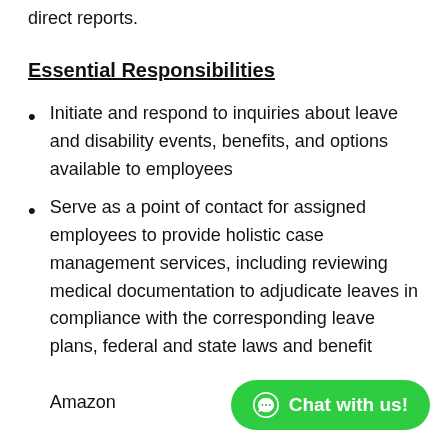direct reports.
Essential Responsibilities
Initiate and respond to inquiries about leave and disability events, benefits, and options available to employees
Serve as a point of contact for assigned employees to provide holistic case management services, including reviewing medical documentation to adjudicate leaves in compliance with the corresponding leave plans, federal and state laws and benefits provided by Amazon